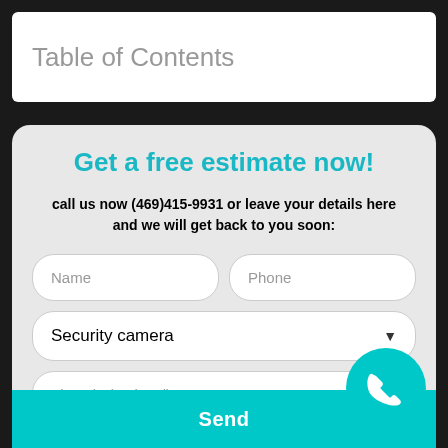Table of Contents
Get a free estimate now!
call us now (469)415-9931 or leave your details here and we will get back to you soon:
Name
Phone
Security camera
Zipcode (optional)
Send